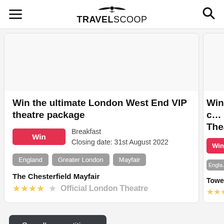TRAVELSCOOP
Win the ultimate London West End VIP theatre package
Win | Breakfast
Closing date: 31st August 2022
England
Greater London
Mayfair
The Chesterfield Mayfair
★★★★☆  Official London Theatre
Win c... Thea...
Engla...
Tower...
See all competitions